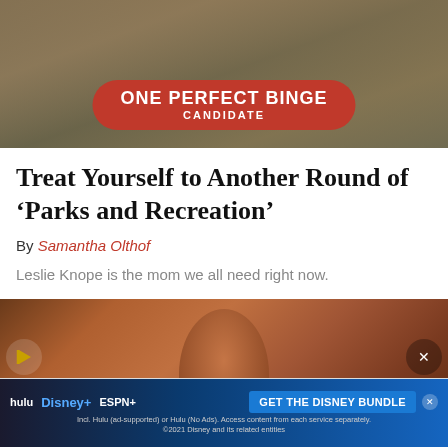[Figure (photo): Top image showing TV show scene with 'ONE PERFECT BINGE CANDIDATE' red badge overlay]
Treat Yourself to Another Round of ‘Parks and Recreation’
By Samantha Olthof
Leslie Knope is the mom we all need right now.
[Figure (photo): Bottom photo of actor from Parks and Recreation, and Disney Bundle advertisement banner below]